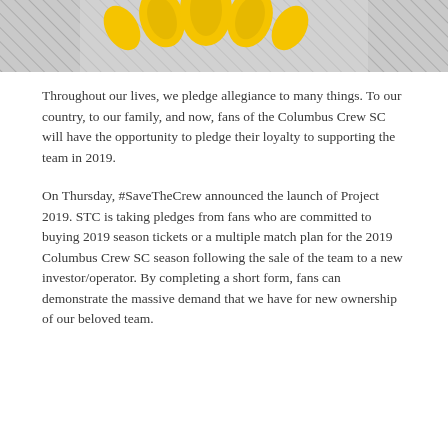[Figure (photo): Top portion of a Columbus Crew SC logo or badge on a silver/grey metallic background with diagonal hatching pattern. Yellow crown-like elements visible at the top.]
Throughout our lives, we pledge allegiance to many things. To our country, to our family, and now, fans of the Columbus Crew SC will have the opportunity to pledge their loyalty to supporting the team in 2019.
On Thursday, #SaveTheCrew announced the launch of Project 2019. STC is taking pledges from fans who are committed to buying 2019 season tickets or a multiple match plan for the 2019 Columbus Crew SC season following the sale of the team to a new investor/operator. By completing a short form, fans can demonstrate the massive demand that we have for new ownership of our beloved team.